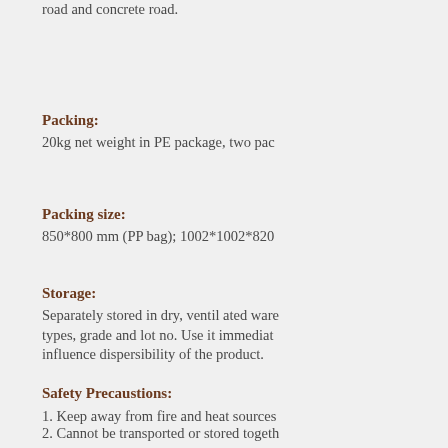road and concrete road.
Packing:
20kg net weight in PE package, two pac
Packing size:
850*800 mm (PP bag); 1002*1002*820
Storage:
Separately stored in dry, ventil ated ware types, grade and lot no. Use it immediat influence dispersibility of the product.
Safety Precaustions:
1. Keep away from fire and heat sources
2. Cannot be transported or stored togeth
3. Proper measures should be taken to av
Remarks: